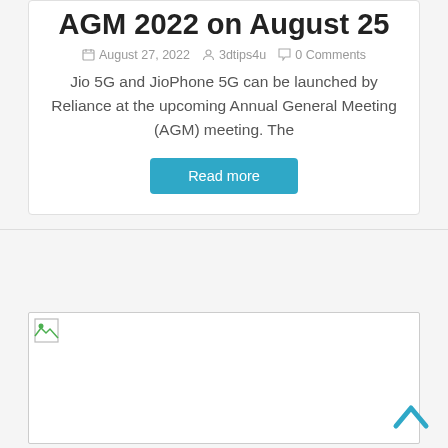AGM 2022 on August 25
August 27, 2022   3dtips4u   0 Comments
Jio 5G and JioPhone 5G can be launched by Reliance at the upcoming Annual General Meeting (AGM) meeting. The
Read more
[Figure (other): Broken image placeholder for next article card]